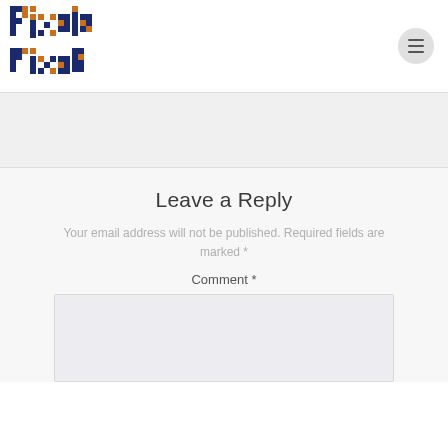Pixels Fixed
[Figure (logo): Pixels Fixed pixelated logo with orange and dark blue block letters]
Leave a Reply
Your email address will not be published. Required fields are marked *
Comment *